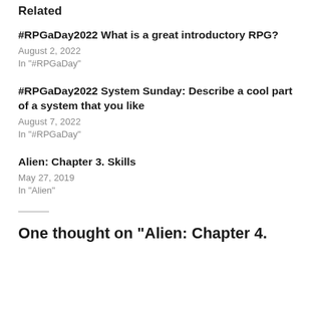Related
#RPGaDay2022 What is a great introductory RPG?
August 2, 2022
In "#RPGaDay"
#RPGaDay2022 System Sunday: Describe a cool part of a system that you like
August 7, 2022
In "#RPGaDay"
Alien: Chapter 3. Skills
May 27, 2019
In "Alien"
One thought on “Alien: Chapter 4.